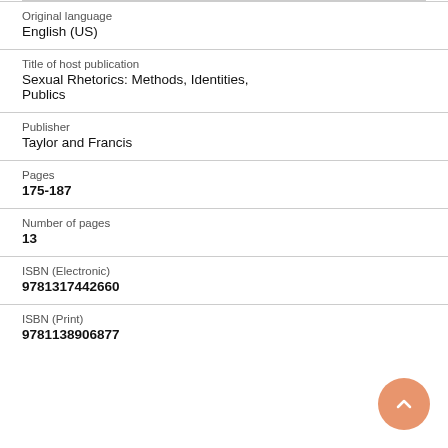| Original language | English (US) |
| Title of host publication | Sexual Rhetorics: Methods, Identities, Publics |
| Publisher | Taylor and Francis |
| Pages | 175-187 |
| Number of pages | 13 |
| ISBN (Electronic) | 9781317442660 |
| ISBN (Print) | 9781138906877 |